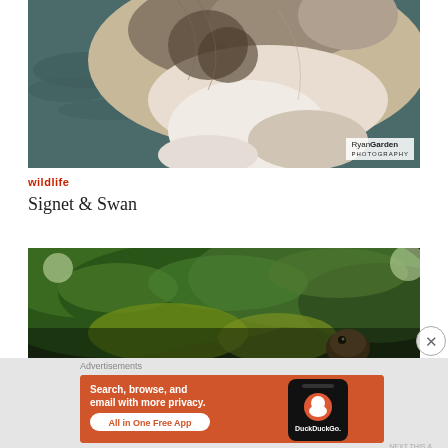[Figure (photo): Close-up wildlife photo of a fluffy animal (appears to be an otter or similar creature) in water, with 'RyanGarden Photography' watermark in bottom right corner]
wildlife
Signet & Swan
[Figure (photo): Wildlife photo of a small brown animal (appears to be a rodent or bird) partially hidden among large green tropical leaves]
Advertisements
[Figure (screenshot): DuckDuckGo advertisement banner with orange background. Text reads: 'Search, browse, and email with more privacy. All in One Free App' with a smartphone showing the DuckDuckGo app and logo]